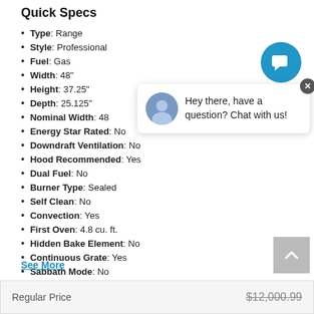Quick Specs
Type: Range
Style: Professional
Fuel: Gas
Width: 48"
Height: 37.25"
Depth: 25.125"
Nominal Width: 48
Energy Star Rated: No
Downdraft Ventilation: No
Hood Recommended: Yes
Dual Fuel: No
Burner Type: Sealed
Self Clean: No
Convection: Yes
First Oven: 4.8 cu. ft.
Hidden Bake Element: No
Continuous Grate: Yes
Sabbath Mode: No
WiFi Connected: No
See More
| Regular Price |  |
| --- | --- |
| Regular Price | $12,000.99 |